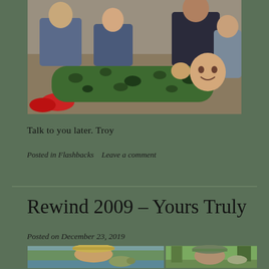[Figure (photo): Family photo showing people lying on the floor, one person wearing green camouflage pajamas, another in red shoes, on what appears to be a carpet or floor indoors.]
Talk to you later. Troy
Posted in Flashbacks    Leave a comment
Rewind 2009 – Yours Truly
Posted on December 23, 2019
[Figure (photo): Two side-by-side photos of a man holding fish. Left photo: man with wide-brimmed hat holding a bass fish near a lake. Right photo: man with bucket hat holding a fish in a wooded outdoor setting.]